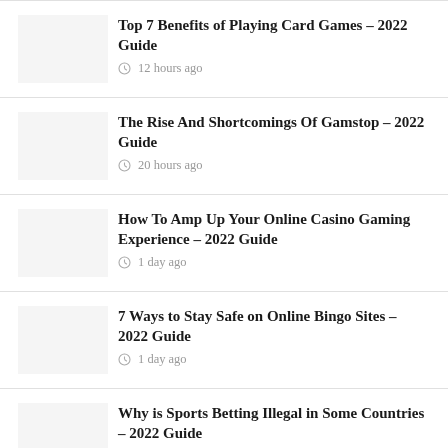Top 7 Benefits of Playing Card Games – 2022 Guide
12 hours ago
The Rise And Shortcomings Of Gamstop – 2022 Guide
20 hours ago
How To Amp Up Your Online Casino Gaming Experience – 2022 Guide
1 day ago
7 Ways to Stay Safe on Online Bingo Sites – 2022 Guide
1 day ago
Why is Sports Betting Illegal in Some Countries – 2022 Guide
2 days ago
5 Most Fun and Profitable Online Casino Games in 2022